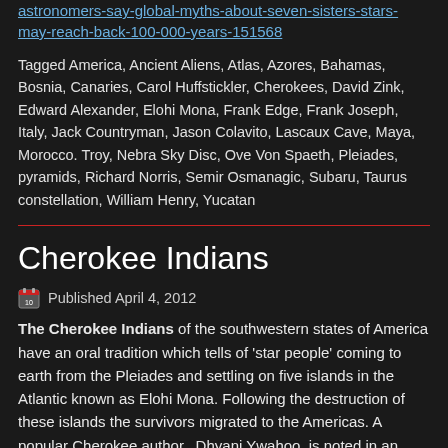astronomers-say-global-myths-about-seven-sisters-stars-may-reach-back-100-000-years-151568
Tagged America, Ancient Aliens, Atlas, Azores, Bahamas, Bosnia, Canaries, Carol Huffstickler, Cherokees, David Zink, Edward Alexander, Elohi Mona, Frank Edge, Frank Joseph, Italy, Jack Countryman, Jason Colavito, Lascaux Cave, Maya, Morocco. Troy, Nebra Sky Disc, Ove Von Spaeth, Pleiades, pyramids, Richard Norris, Semir Osmanagic, Subaru, Taurus constellation, William Henry, Yucatan
Cherokee Indians
Published April 4, 2012
The Cherokee Indians of the southwestern states of America have an oral tradition which tells of 'star people' coming to earth from the Pleiades and settling on five islands in the Atlantic known as Elohi Mona. Following the destruction of these islands the survivors migrated to the Americas. A popular Cherokee author, Dhyani Ywahoo, is noted in an online forum(a) to have understood Elohi Mona to be a reference to Atlantis.
>John Fuhler published a paper on the Edgar Cayce website charting the origins of the Cherokee people